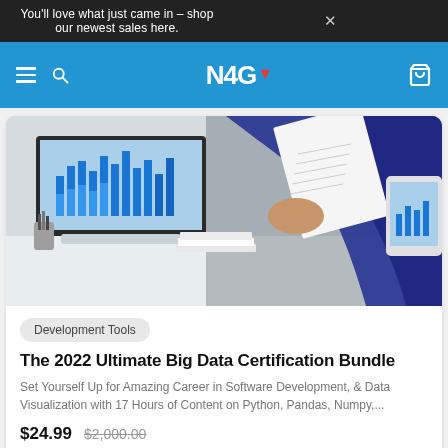You'll love what just came in – shop our newest sales here. ×
[Figure (logo): N4G logo in white on blue navigation bar with hamburger menu, search icon, and cart icon]
[Figure (photo): Person in navy blue suit holding papers at a desk with iMac showing bar charts, tablet showing bar charts, keyboard visible]
Development Tools
The 2022 Ultimate Big Data Certification Bundle
Set Yourself Up for Amazing Career in Software Development, & Data Visualization with 17 Hours of Content on Python, Pandas, Numpy,...
$24.99  $2,000.00